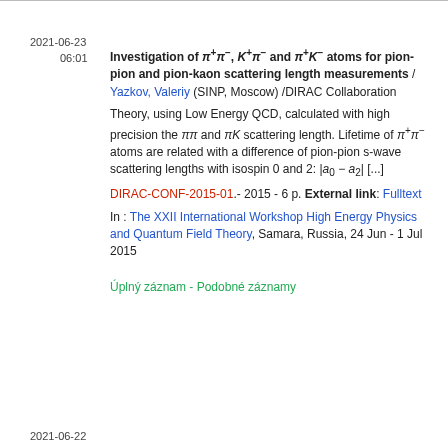2021-06-23
06:01
Investigation of π+π−, K+π− and π+K− atoms for pion-pion and pion-kaon scattering length measurements / Yazkov, Valeriy (SINP, Moscow) /DIRAC Collaboration
Theory, using Low Energy QCD, calculated with high precision the ππ and πK scattering length. Lifetime of π+π− atoms are related with a difference of pion-pion s-wave scattering lengths with isospin 0 and 2: |a₀ − a₂| [...]
DIRAC-CONF-2015-01.- 2015 - 6 p. External link: Fulltext
In : The XXII International Workshop High Energy Physics and Quantum Field Theory, Samara, Russia, 24 Jun - 1 Jul 2015
Úplný záznam - Podobné záznamy
2021-06-22